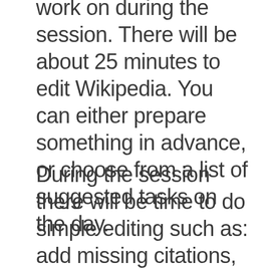work on during the session. There will be about 25 minutes to edit Wikipedia. You can either prepare something in advance, or choose from a list of suggested tasks on the day.
During the session there will be time to do simple editing such as: add missing citations, add links between existing articles, add images to a wiki article,